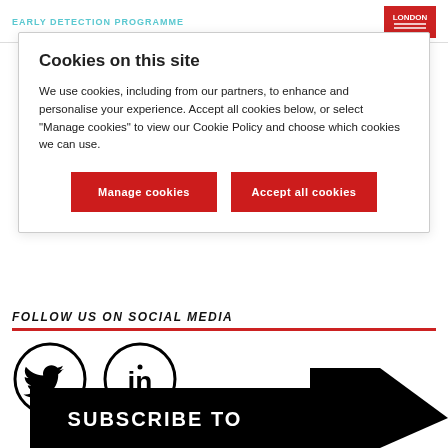EARLY DETECTION PROGRAMME
Cookies on this site
We use cookies, including from our partners, to enhance and personalise your experience. Accept all cookies below, or select “Manage cookies” to view our Cookie Policy and choose which cookies we can use.
Manage cookies | Accept all cookies
FOLLOW US ON SOCIAL MEDIA
[Figure (logo): Twitter bird icon in a circle]
[Figure (logo): LinkedIn 'in' icon in a circle]
[Figure (illustration): Subscribe to banner with arrow graphic]